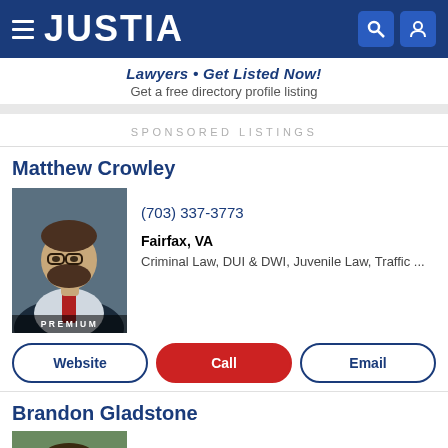JUSTIA
Lawyers • Get Listed Now!
Get a free directory profile listing
SPONSORED LISTINGS
Matthew Crowley
(703) 337-3773
Fairfax, VA
Criminal Law, DUI & DWI, Juvenile Law, Traffic ...
PREMIUM
Website | Call | Email
Brandon Gladstone